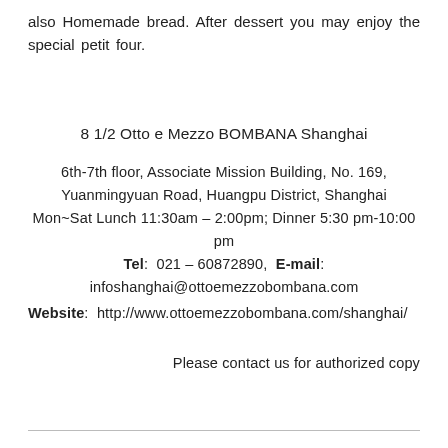also Homemade bread. After dessert you may enjoy the special petit four.
8 1/2 Otto e Mezzo BOMBANA Shanghai
6th-7th floor, Associate Mission Building, No. 169, Yuanmingyuan Road, Huangpu District, Shanghai
Mon~Sat Lunch 11:30am – 2:00pm; Dinner 5:30 pm-10:00 pm
Tel: 021 – 60872890, E-mail:
infoshanghai@ottoemezzobombana.com
Website: http://www.ottoemezzobombana.com/shanghai/
Please contact us for authorized copy